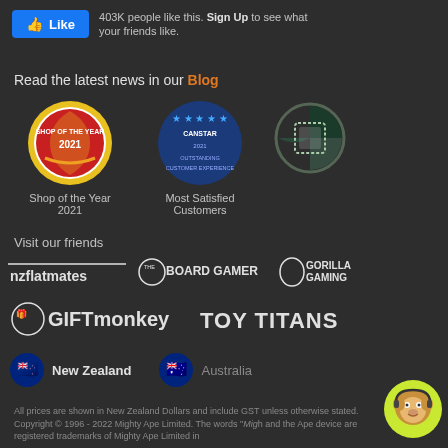[Figure (logo): Facebook Like button with '403K people like this. Sign Up to see what your friends like.']
Read the latest news in our Blog
[Figure (logo): Three award badges: Shop of the Year 2021, Most Satisfied Customers (Canstar), and a third badge]
Visit our friends
[Figure (logo): Partner logos row 1: nzflatmates, THE BOARD GAMER, GORILLA GAMING]
[Figure (logo): Partner logos row 2: GIFTmonkey, TOY TITANS]
[Figure (logo): Country flags: New Zealand (active), Australia (dimmed)]
All prices are shown in New Zealand Dollars and include GST unless otherwise stated. Copyright © 1996 - 2022 Mighty Ape Limited. The words "Mig" and the Ape device are registered trademarks of Mighty Ape Limited in
[Figure (illustration): Monkey mascot avatar with headset, yellow-green background circle]